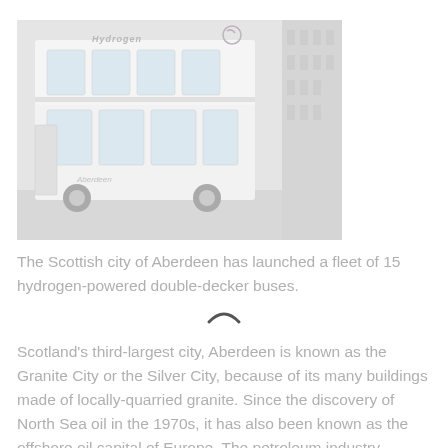[Figure (photo): A white hydrogen-powered double-decker bus with 'Hydrogen' text on top and Aberdeen branding, parked on a street with a building visible in the background. The image appears faded/light.]
The Scottish city of Aberdeen has launched a fleet of 15 hydrogen-powered double-decker buses.
Scotland's third-largest city, Aberdeen is known as the Granite City or the Silver City, because of its many buildings made of locally-quarried granite. Since the discovery of North Sea oil in the 1970s, it has also been known as the offshore oil capital of Europe. The petroleum industry supports an estimated half-million jobs in the